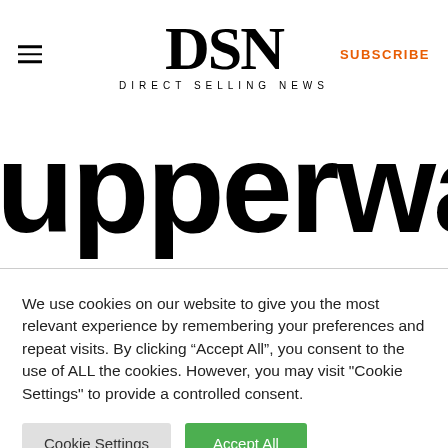DSN | DIRECT SELLING NEWS | SUBSCRIBE
[Figure (logo): Tupperware brand logo text partially visible, cropped, showing 'upperwar' in large bold black font]
We use cookies on our website to give you the most relevant experience by remembering your preferences and repeat visits. By clicking “Accept All”, you consent to the use of ALL the cookies. However, you may visit "Cookie Settings" to provide a controlled consent.
Cookie Settings | Accept All